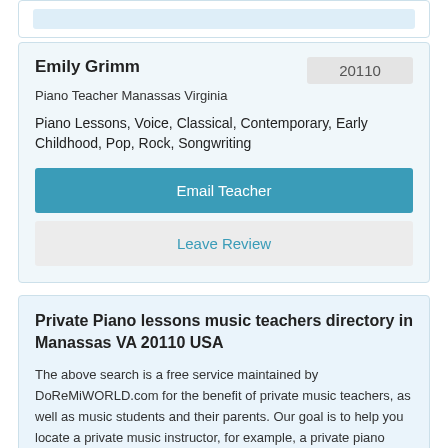Emily Grimm
20110
Piano Teacher Manassas Virginia
Piano Lessons, Voice, Classical, Contemporary, Early Childhood, Pop, Rock, Songwriting
Email Teacher
Leave Review
Private Piano lessons music teachers directory in Manassas VA 20110 USA
The above search is a free service maintained by DoReMiWORLD.com for the benefit of private music teachers, as well as music students and their parents. Our goal is to help you locate a private music instructor, for example, a private piano teacher, a private violin teacher, a private voice